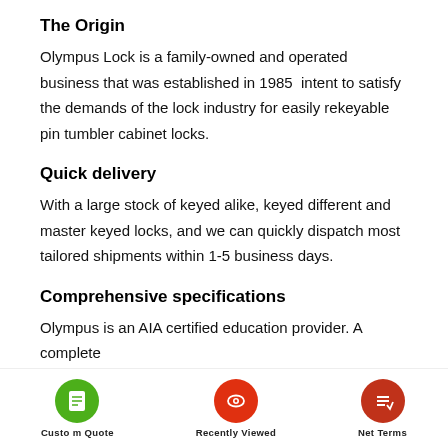The Origin
Olympus Lock is a family-owned and operated business that was established in 1985  intent to satisfy the demands of the lock industry for easily rekeyable pin tumbler cabinet locks.
Quick delivery
With a large stock of keyed alike, keyed different and master keyed locks, and we can quickly dispatch most tailored shipments within 1-5 business days.
Comprehensive specifications
Olympus is an AIA certified education provider. A complete
[Figure (infographic): Bottom navigation bar with three circular icon buttons: Custom Quote (green circle, document icon), Recently Viewed (red circle, eye icon), Net Terms (dark red circle, list icon)]